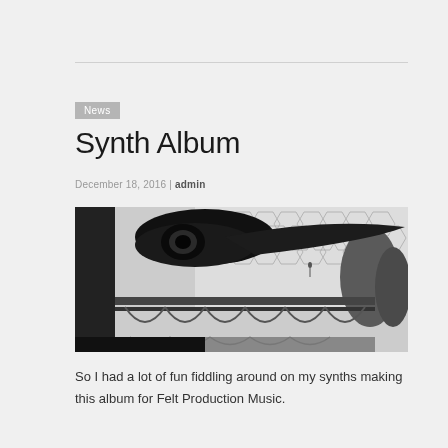News
Synth Album
December 18, 2016 | admin
[Figure (photo): Black and white photograph of a large mechanical or sci-fi structure with arched ironwork below and geometric honeycomb patterns in the background, possibly a film prop or sculpture outdoors.]
So I had a lot of fun fiddling around on my synths making this album for Felt Production Music.